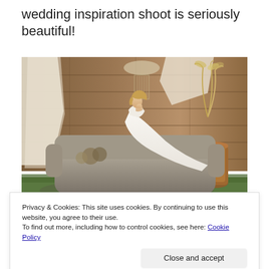wedding inspiration shoot is seriously beautiful!
[Figure (photo): A bride in a white dress reclines on a grey vintage sofa outdoors, with a rustic wooden plank wall backdrop, macramé hanging, draped cream fabric, dried floral arrangements, and pampas grass in a copper vase.]
Privacy & Cookies: This site uses cookies. By continuing to use this website, you agree to their use.
To find out more, including how to control cookies, see here: Cookie Policy
Close and accept
Bohemian styling all have in common. We